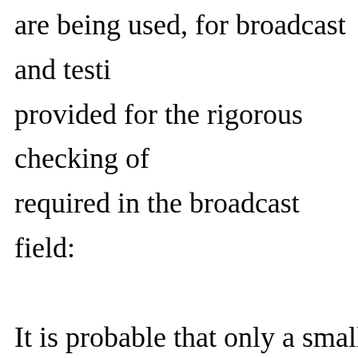are being used, for broadcast and testi provided for the rigorous checking of required in the broadcast field: It is probable that only a small fraction listeners have the slightest knowledge behind the scenes, in radio. They liste simple, matter of fact and connected m realizing that many men have worked least, for hours - to make it possible. T